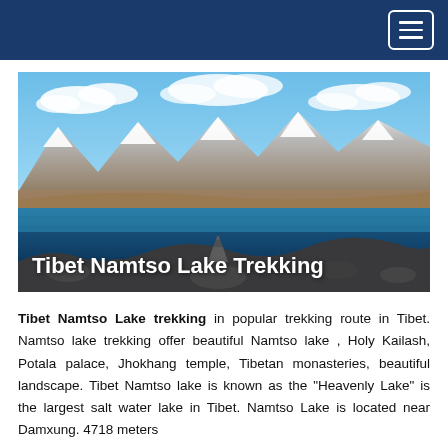[Navigation bar with hamburger menu]
[Figure (photo): Scenic photo of Namtso Lake in Tibet with blue water, mountains capped with snow in the background, blue sky with clouds, and rocky foreground. Title text 'Tibet Namtso Lake Trekking' overlaid at the bottom of the image.]
Tibet Namtso Lake trekking in popular trekking route in Tibet. Namtso lake trekking offer beautiful Namtso lake , Holy Kailash, Potala palace, Jhokhang temple, Tibetan monasteries, beautiful landscape. Tibet Namtso lake is known as the "Heavenly Lake" is the largest salt water lake in Tibet. Namtso Lake is located near Damxung. 4718 meters